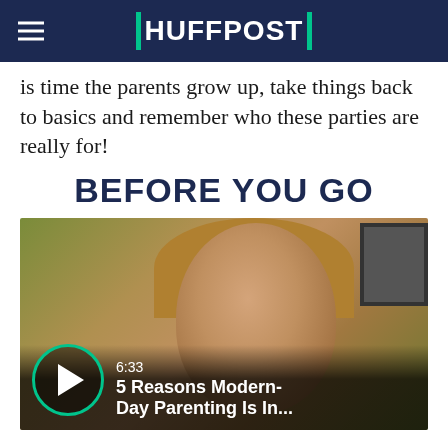HUFFPOST
is time the parents grow up, take things back to basics and remember who these parties are really for!
BEFORE YOU GO
[Figure (screenshot): Video thumbnail showing a woman smiling, with a play button circle (teal border) overlay, duration 6:33, and title '5 Reasons Modern-Day Parenting Is In...']